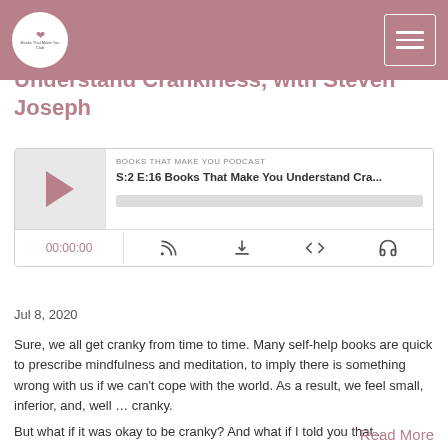Books That Make You (logo) / hamburger menu
Understand Crankiness, with Steven Joseph
[Figure (screenshot): Podcast player widget showing 'BOOKS THAT MAKE YOU PODCAST' with episode 'S:2 E:16 Books That Make You Understand Cra...' play button, progress bar, time display 00:00:00, and controls for subscribe, download, embed, and share.]
Jul 8, 2020
Sure, we all get cranky from time to time. Many self-help books are quick to prescribe mindfulness and meditation, to imply there is something wrong with us if we can't cope with the world. As a result, we feel small, inferior, and, well … cranky.
But what if it was okay to be cranky? And what if I told you that...
Read More